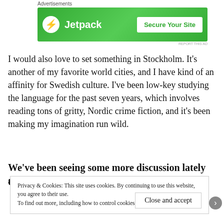[Figure (other): Jetpack advertisement banner with green gradient background, Jetpack logo and 'Secure Your Site' button]
I would also love to set something in Stockholm. It's another of my favorite world cities, and I have kind of an affinity for Swedish culture. I've been low-key studying the language for the past seven years, which involves reading tons of gritty, Nordic crime fiction, and it's been making my imagination run wild.
We've been seeing some more discussion lately about
Privacy & Cookies: This site uses cookies. By continuing to use this website, you agree to their use.
To find out more, including how to control cookies, see here: Cookie Policy
Close and accept